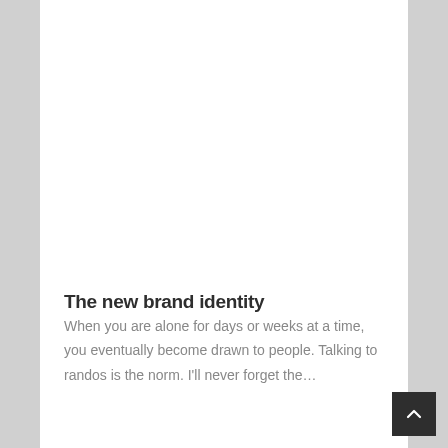[Figure (other): White empty card/image area at the top of the page]
The new brand identity
When you are alone for days or weeks at a time, you eventually become drawn to people. Talking to randos is the norm. I'll never forget the…